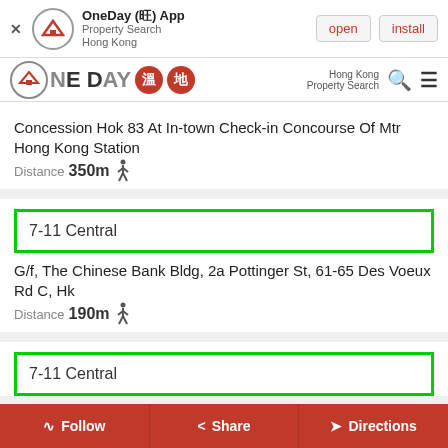[Figure (screenshot): App install banner for OneDay App - Property Search Hong Kong, with open and install buttons]
[Figure (logo): OneDay property search logo with house icon, Chinese characters in red circles, and search/menu icons]
Concession Hok 83 At In-town Check-in Concourse Of Mtr Hong Kong Station
Distance 350m (walking icon)
7-11 Central
G/f, The Chinese Bank Bldg, 2a Pottinger St, 61-65 Des Voeux Rd C, Hk
Distance 190m (walking icon)
7-11 Central
Follow  Share  Directions